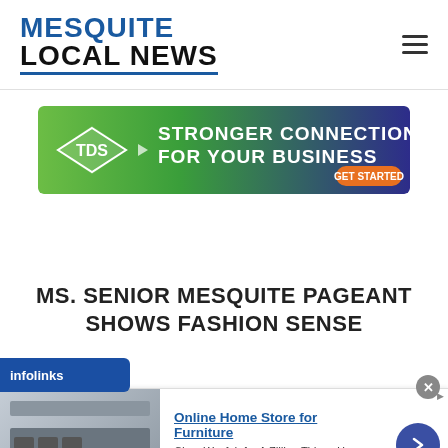MESQUITE LOCAL NEWS
[Figure (infographic): TDS advertisement banner: green to purple gradient background, TDS diamond logo on left, text 'STRONGER CONNECTIONS FOR YOUR BUSINESS' with orange 'GET STARTED' button]
MS. SENIOR MESQUITE PAGEANT SHOWS FASHION SENSE
[Figure (infographic): Infolinks branding bar in blue, then Wayfair advertisement with kitchen appliance image, 'Online Home Store for Furniture' headline, 'Shop Wayfair for A Zillion Things Home across all styles', www.wayfair.com URL, and blue arrow circle button. Close X button visible.]